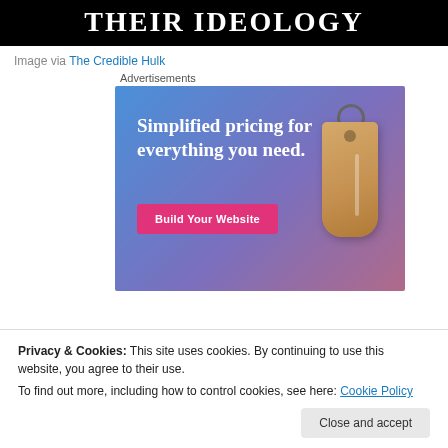THEIR IDEOLOGY
Image via The Credible Hulk
Advertisements
[Figure (screenshot): Advertisement banner: 'Simplified pricing for everything you need.' with a 'Build Your Website' pink button and a price tag graphic on a blue-to-purple gradient background.]
Privacy & Cookies: This site uses cookies. By continuing to use this website, you agree to their use.
To find out more, including how to control cookies, see here: Cookie Policy
Close and accept
science ever comes. Anyone who rejects anthropogenic